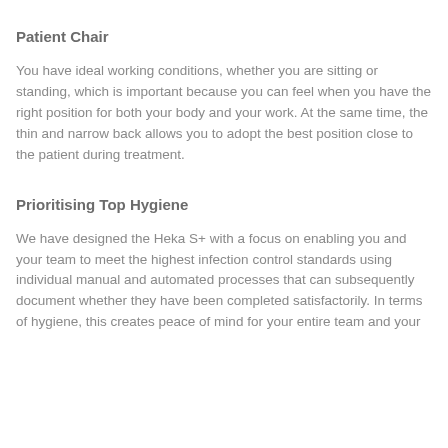Patient Chair
You have ideal working conditions, whether you are sitting or standing, which is important because you can feel when you have the right position for both your body and your work. At the same time, the thin and narrow back allows you to adopt the best position close to the patient during treatment.
Prioritising Top Hygiene
We have designed the Heka S+ with a focus on enabling you and your team to meet the highest infection control standards using individual manual and automated processes that can subsequently document whether they have been completed satisfactorily. In terms of hygiene, this creates peace of mind for your entire team and your